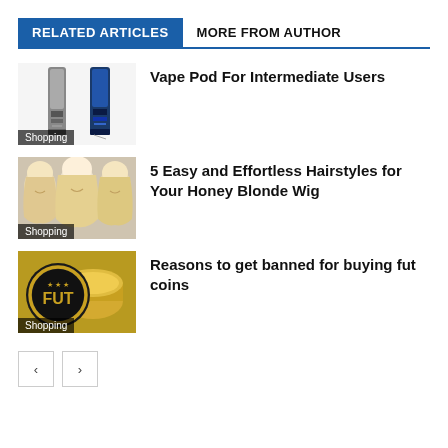RELATED ARTICLES
MORE FROM AUTHOR
[Figure (photo): Two vape pod devices (grey and blue) standing upright on white background with Shopping label]
Vape Pod For Intermediate Users
[Figure (photo): Three blonde women with wavy hair smiling, with Shopping label]
5 Easy and Effortless Hairstyles for Your Honey Blonde Wig
[Figure (photo): FUT gold coin logo with Shopping label]
Reasons to get banned for buying fut coins